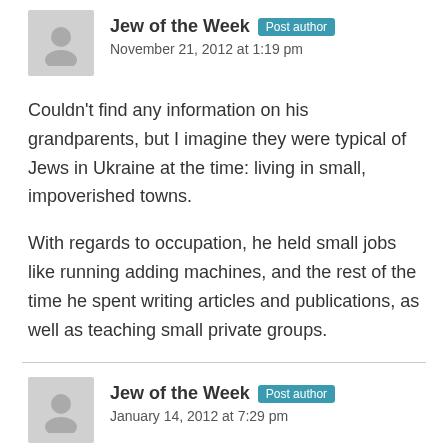[Figure (illustration): Gray avatar placeholder silhouette icon]
Jew of the Week  Post author
November 21, 2012 at 1:19 pm
Couldn't find any information on his grandparents, but I imagine they were typical of Jews in Ukraine at the time: living in small, impoverished towns.
With regards to occupation, he held small jobs like running adding machines, and the rest of the time he spent writing articles and publications, as well as teaching small private groups.
[Figure (illustration): Gray avatar placeholder silhouette icon]
Jew of the Week  Post author
January 14, 2012 at 7:29 pm